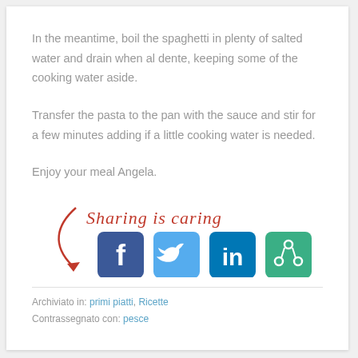In the meantime, boil the spaghetti in plenty of salted water and drain when al dente, keeping some of the cooking water aside.
Transfer the pasta to the pan with the sauce and stir for a few minutes adding if a little cooking water is needed.
Enjoy your meal Angela.
[Figure (illustration): Cursive red text reading 'Sharing is caring' with a red curved arrow pointing down-right toward social media icons for Facebook, Twitter, LinkedIn, and a green share button.]
Archiviato in: primi piatti, Ricette
Contrassegnato con: pesce